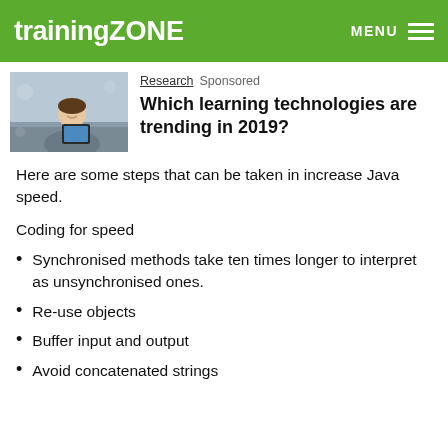trainingZONE  MENU
[Figure (photo): Woman smiling while using a tablet device]
Research  Sponsored
Which learning technologies are trending in 2019?
Here are some steps that can be taken in increase Java speed.
Coding for speed
Synchronised methods take ten times longer to interpret as unsynchronised ones.
Re-use objects
Buffer input and output
Avoid concatenated strings